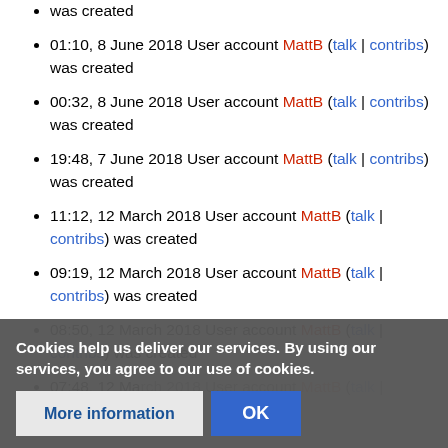was created
01:10, 8 June 2018 User account MattB (talk | contribs) was created
00:32, 8 June 2018 User account MattB (talk | contribs) was created
19:48, 7 June 2018 User account MattB (talk | contribs) was created
11:12, 12 March 2018 User account MattB (talk | contribs) was created
09:19, 12 March 2018 User account MattB (talk | contribs) was created
08:50, 12 March 2018 User account MattB (talk | contribs) was created
07:48, 12 March 2018 User account MattB (talk | contribs) was created
Cookies help us deliver our services. By using our services, you agree to our use of cookies.